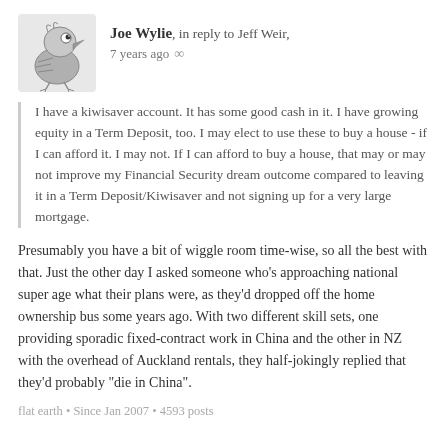Joe Wylie, in reply to Jeff Weir, 7 years ago
I have a kiwisaver account. It has some good cash in it. I have growing equity in a Term Deposit, too. I may elect to use these to buy a house - if I can afford it. I may not. If I can afford to buy a house, that may or may not improve my Financial Security dream outcome compared to leaving it in a Term Deposit/Kiwisaver and not signing up for a very large mortgage.
Presumably you have a bit of wiggle room time-wise, so all the best with that. Just the other day I asked someone who's approaching national super age what their plans were, as they'd dropped off the home ownership bus some years ago. With two different skill sets, one providing sporadic fixed-contract work in China and the other in NZ with the overhead of Auckland rentals, they half-jokingly replied that they'd probably "die in China".
flat earth • Since Jan 2007 • 4593 posts